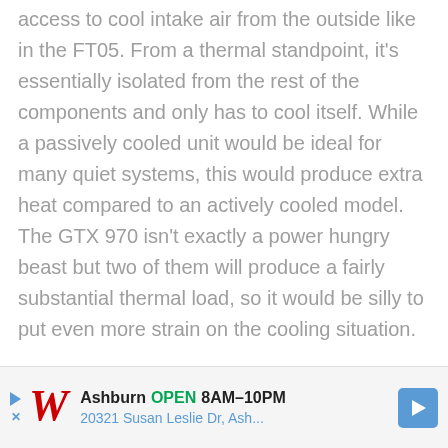access to cool intake air from the outside like in the FT05. From a thermal standpoint, it's essentially isolated from the rest of the components and only has to cool itself. While a passively cooled unit would be ideal for many quiet systems, this would produce extra heat compared to an actively cooled model. The GTX 970 isn't exactly a power hungry beast but two of them will produce a fairly substantial thermal load, so it would be silly to put even more strain on the cooling situation.
[Figure (other): Advertisement banner for Walgreens showing store location in Ashburn, open 8AM-10PM, address 20321 Susan Leslie Dr, Ash...]